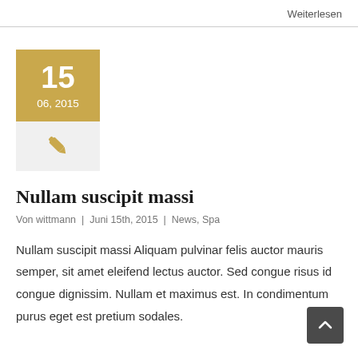Weiterlesen
[Figure (illustration): Date widget showing '15' in large text and '06, 2015' below on a golden/tan background, with a pen/quill icon on a light grey background below]
Nullam suscipit massi
Von wittmann  |  Juni 15th, 2015  |  News, Spa
Nullam suscipit massi Aliquam pulvinar felis auctor mauris semper, sit amet eleifend lectus auctor. Sed congue risus id congue dignissim. Nullam et maximus est. In condimentum purus eget est pretium sodales.